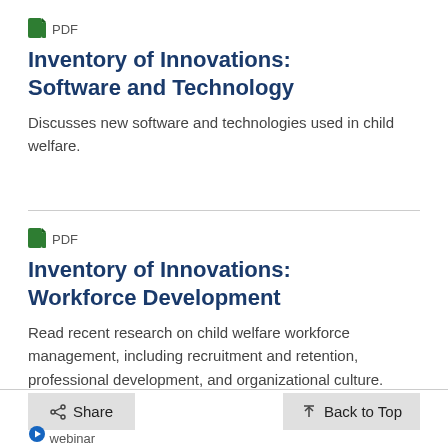PDF
Inventory of Innovations: Software and Technology
Discusses new software and technologies used in child welfare.
PDF
Inventory of Innovations: Workforce Development
Read recent research on child welfare workforce management, including recruitment and retention, professional development, and organizational culture.
Share
Back to Top
webinar